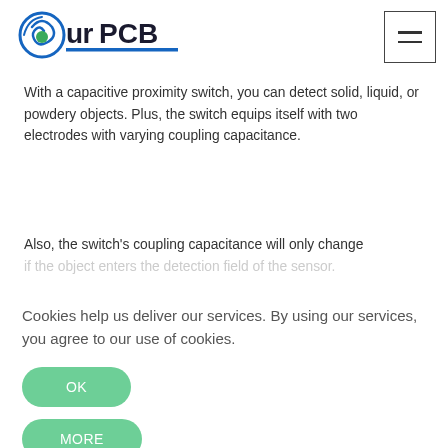[Figure (logo): OurPCB company logo with circular blue and green swirl icon and text 'OurPCB']
With a capacitive proximity switch, you can detect solid, liquid, or powdery objects. Plus, the switch equips itself with two electrodes with varying coupling capacitance.
Also, the switch's coupling capacitance will only change if the object enters the detection field of the sensor.
Cookies help us deliver our services. By using our services, you agree to our use of cookies.
OK
MORE